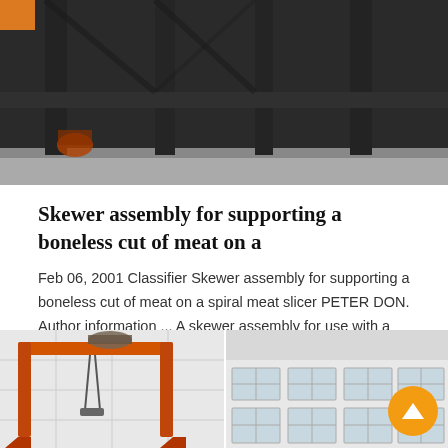[Figure (photo): Industrial metal structure with dark vertical and horizontal beams in a warehouse setting, orange accent in top-left corner]
Skewer assembly for supporting a boneless cut of meat on a
Feb 06, 2001 Classifier Skewer assembly for supporting a boneless cut of meat on a spiral meat slicer PETER DON. Author information ... A skewer assembly for use with a spiral meat slici…
Get Price  >
[Figure (photo): Left half: Orange crane/gantry structure with hooks in industrial setting. Right half: White building facade with grid windows. Back-to-top button (orange circle with up arrow) overlaid on right portion.]